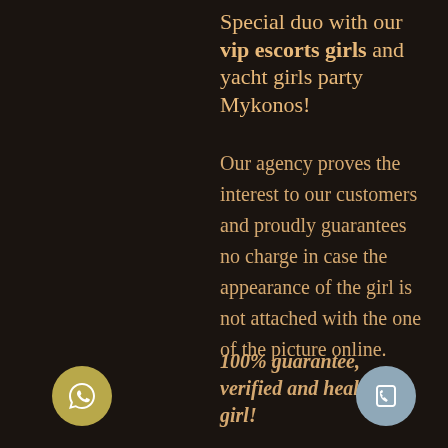Special duo with our vip escorts girls and yacht girls party Mykonos!
Our agency proves the interest to our customers and proudly guarantees no charge in case the appearance of the girl is not attached with the one of the picture online.
100% guarantee, verified and healthy girl!